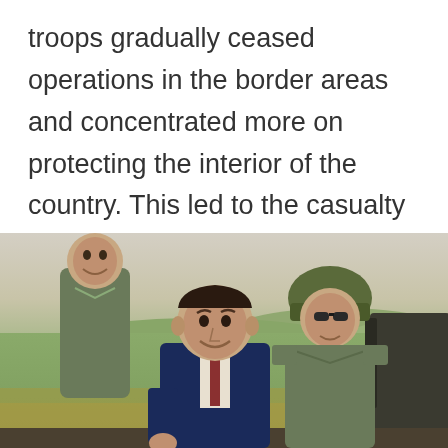troops gradually ceased operations in the border areas and concentrated more on protecting the interior of the country. This led to the casualty total of 1970 being less than half of what it was in 1969.
[Figure (photo): Historical photograph showing men including a civilian in a dark suit and military personnel in olive green uniforms riding in a military vehicle, outdoors with green landscape and hazy sky in background.]